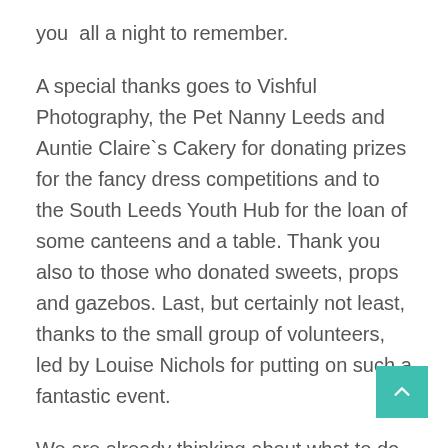you  all a night to remember.
A special thanks goes to Vishful Photography, the Pet Nanny Leeds and Auntie Claire`s Cakery for donating prizes for the fancy dress competitions and to the South Leeds Youth Hub for the loan of some canteens and a table. Thank you also to those who donated sweets, props and gazebos. Last, but certainly not least, thanks to the small group of volunteers, led by Louise Nichols for putting on such a fantastic event.
We are already thinking about what to do next, so please let us have any suggestions!
You can get in touch through:
Twitter @FriendsofNFV